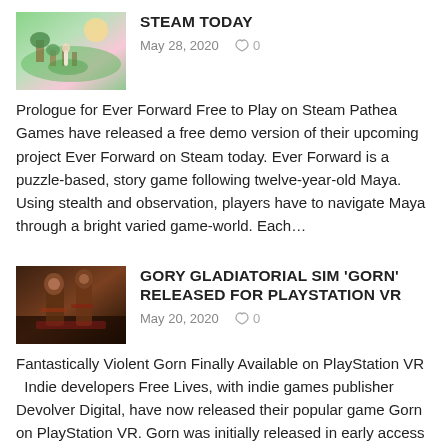[Figure (photo): Thumbnail image for Steam Today article showing a colorful game scene with a character in a bright outdoor environment]
STEAM TODAY
May 28, 2020  👍 0
Prologue for Ever Forward Free to Play on Steam Pathea Games have released a free demo version of their upcoming project Ever Forward on Steam today. Ever Forward is a puzzle-based, story game following twelve-year-old Maya. Using stealth and observation, players have to navigate Maya through a bright varied game-world. Each…
[Figure (photo): Thumbnail image for Gory Gladiatorial Sim Gorn article showing a dark gladiatorial game scene]
GORY GLADIATORIAL SIM 'GORN' RELEASED FOR PLAYSTATION VR
May 20, 2020  👍 0
Fantastically Violent Gorn Finally Available on PlayStation VR   Indie developers Free Lives, with indie games publisher Devolver Digital, have now released their popular game Gorn on PlayStation VR. Gorn was initially released in early access during July of 2017. Since it has received overwhelmingly positive player feedback. Soon…